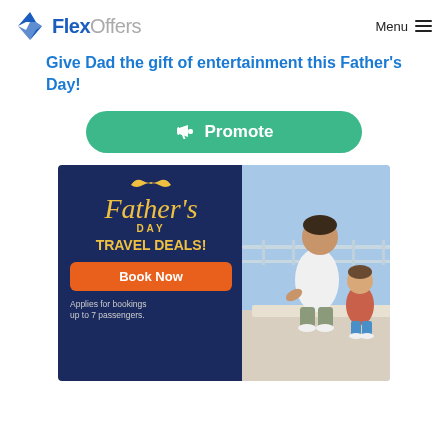FlexOffers   Menu
Give Dad the gift of entertainment this Father's Day!
[Figure (other): Green rounded Promote button with megaphone icon]
[Figure (infographic): Father's Day Travel Deals advertisement banner with dark blue left panel showing Father's Day script text, TRAVEL DEALS!, Book Now button, applies text, and a photo of a father and son on the right side]